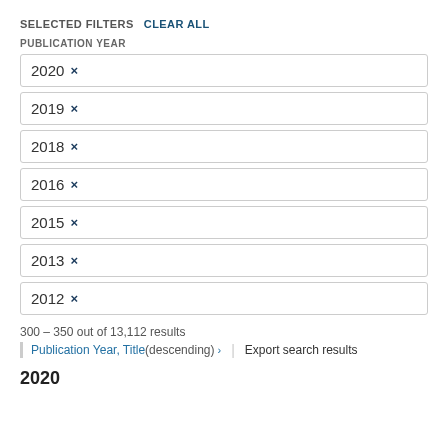SELECTED FILTERS  CLEAR ALL
PUBLICATION YEAR
2020 ×
2019 ×
2018 ×
2016 ×
2015 ×
2013 ×
2012 ×
300 – 350 out of 13,112 results
Publication Year, Title (descending) › | Export search results
2020